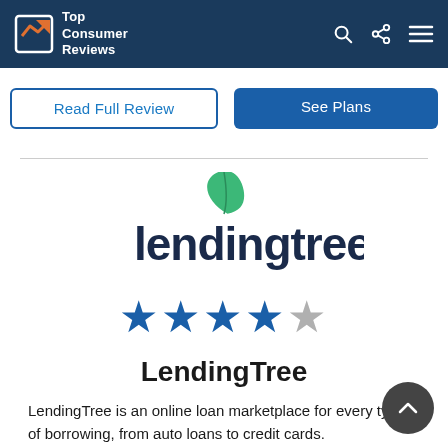Top Consumer Reviews
Read Full Review | See Plans
[Figure (logo): LendingTree logo — green leaf above lowercase 'lendingtree' text in dark navy]
[Figure (other): 4 out of 5 stars rating — four filled blue stars and one grey star]
LendingTree
LendingTree is an online loan marketplace for every type of borrowing, from auto loans to credit cards.